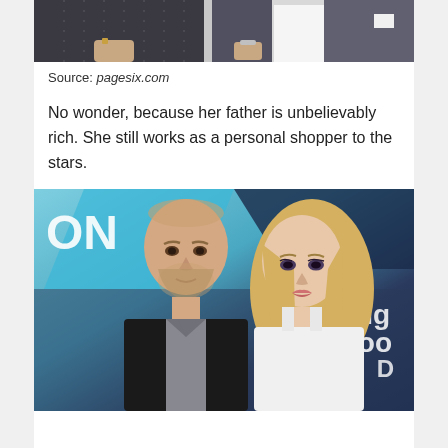[Figure (photo): Top portion of a photo showing two people in formal attire, cropped at top of frame]
Source: pagesix.com
No wonder, because her father is unbelievably rich. She still works as a personal shopper to the stars.
[Figure (photo): A man and a woman posing together at what appears to be an event with a blue and dark background. The man has short hair and a beard wearing a black jacket, and the woman is blonde wearing white.]